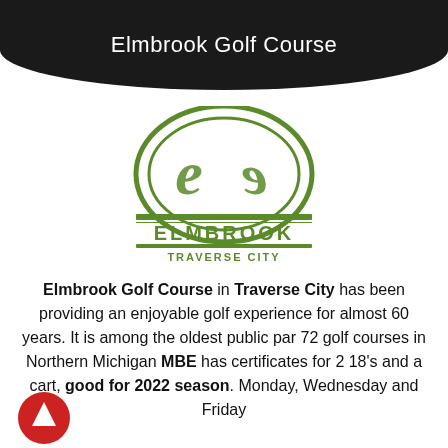Elmbrook Golf Course
[Figure (logo): Elmbrook Golf Course logo — green circular emblem with stylized 'E' letters, text 'ELMBROOK' and 'TRAVERSE CITY' below]
Elmbrook Golf Course in Traverse City has been providing an enjoyable golf experience for almost 60 years. It is among the oldest public par 72 golf courses in Northern Michigan MBE has certificates for 2 18's and a cart, good for 2022 season. Monday, Wednesday and Friday